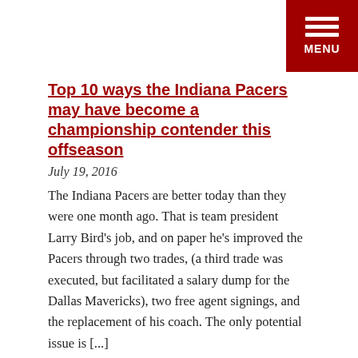[Figure (other): Red hamburger menu button in top-right corner with three white horizontal bars and MENU label]
Top 10 ways the Indiana Pacers may have become a championship contender this offseason
July 19, 2016
The Indiana Pacers are better today than they were one month ago. That is team president Larry Bird’s job, and on paper he’s improved the Pacers through two trades, (a third trade was executed, but facilitated a salary dump for the Dallas Mavericks), two free agent signings, and the replacement of his coach. The only potential issue is [...]
Top 10 reasons to be very optimistic about the Pacers in 2016-2017
July 11, 2016
The Indiana Pacers have enjoyed an offseason of under the radar activity that improved the team marginally with every stroke. Kevin Durant generated headlines by leaving